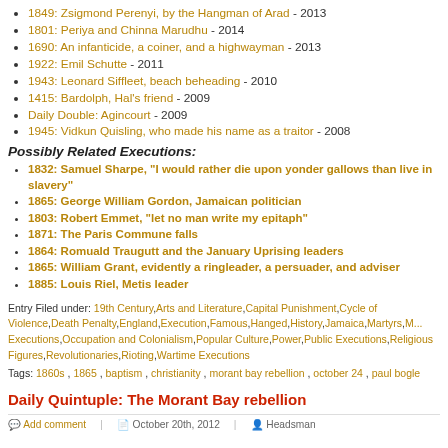1849: Zsigmond Perenyi, by the Hangman of Arad - 2013
1801: Periya and Chinna Marudhu - 2014
1690: An infanticide, a coiner, and a highwayman - 2013
1922: Emil Schutte - 2011
1943: Leonard Siffleet, beach beheading - 2010
1415: Bardolph, Hal's friend - 2009
Daily Double: Agincourt - 2009
1945: Vidkun Quisling, who made his name as a traitor - 2008
Possibly Related Executions:
1832: Samuel Sharpe, “I would rather die upon yonder gallows than live in slavery”
1865: George William Gordon, Jamaican politician
1803: Robert Emmet, “let no man write my epitaph”
1871: The Paris Commune falls
1864: Romuald Traugutt and the January Uprising leaders
1865: William Grant, evidently a ringleader, a persuader, and adviser
1885: Louis Riel, Metis leader
Entry Filed under: 19th Century, Arts and Literature, Capital Punishment, Cycle of Violence, Death Penalty, England, Execution, Famous, Hanged, History, Jamaica, Martyrs, M..., Executions, Occupation and Colonialism, Popular Culture, Power, Public Executions, Religious Figures, Revolutionaries, Rioting, Wartime Executions
Tags: 1860s, 1865, baptism, christianity, morant bay rebellion, october 24, paul bogle
Daily Quintuple: The Morant Bay rebellion
Add comment | October 20th, 2012 | Headsman